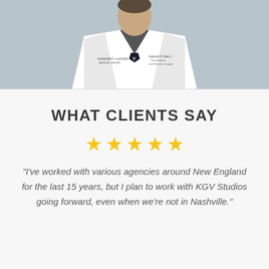[Figure (photo): A person wearing a white lab coat (doctor/physician) at Vanderbilt University Medical Center, cropped to show upper torso and partial face.]
WHAT CLIENTS SAY
[Figure (infographic): Five gold/yellow star rating icons in a row]
“I’ve worked with various agencies around New England for the last 15 years, but I plan to work with KGV Studios going forward, even when we’re not in Nashville.”